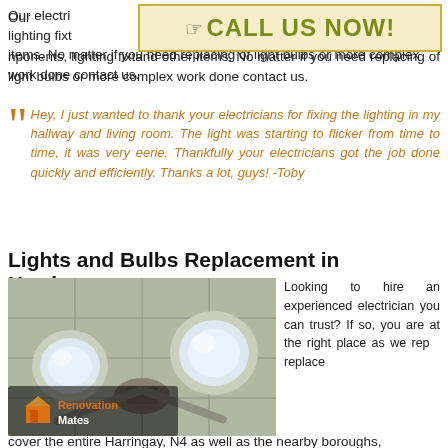Our electricians service lighting components, lighting fixtures and other items. No matter if you need replacing of light bulbs or more complex work done contact us.
[Figure (infographic): Call Us Now banner with hand pointer icon on cream/yellow background]
Hey, I just wanted to thank your electricians for fixing the lighting in my hallway and living room. The light was starting to flicker from time to time, it was very eerie. Thankfully your electricians got the job done quickly and efficiently. Thanks a lot, guys! -Toby
Lights and Bulbs Replacement in Harringay
[Figure (photo): Two spot light bulbs mounted on ceiling with Renovation Mates logo overlay]
Looking to hire an experienced electrician you can trust? If so, you are at the right place as we rep... replace... cover the entire Harringay, N4 as well as the nearby boroughs,